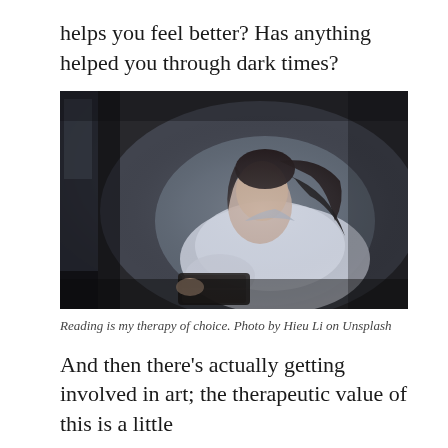helps you feel better? Has anything helped you through dark times?
[Figure (photo): A young Asian woman with dark hair reads a book in a dimly lit room, wearing a light blue shirt. Atmospheric, moody lighting. Photo by Hieu Li on Unsplash.]
Reading is my therapy of choice. Photo by Hieu Li on Unsplash
And then there’s actually getting involved in art; the therapeutic value of this is a little